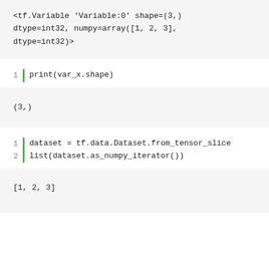<tf.Variable 'Variable:0' shape=(3,) dtype=int32, numpy=array([1, 2, 3], dtype=int32)>
1  print(var_x.shape)
(3,)
1  dataset = tf.data.Dataset.from_tensor_slice
2  list(dataset.as_numpy_iterator())
[1, 2, 3]